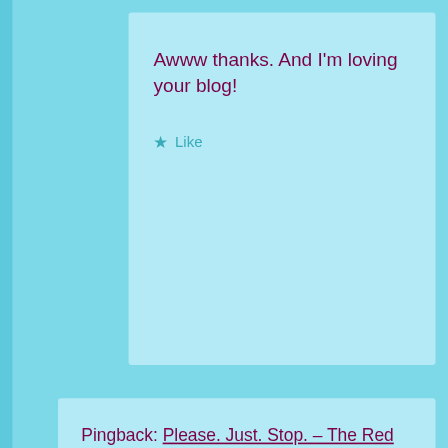Awww thanks. And I'm loving your blog!
Like
Pingback: Please. Just. Stop. – The Red Hatter Book Blog
Maria Vickers  June 13, 2019 at 3:32 pm
This is horrible! I blog and am an author and